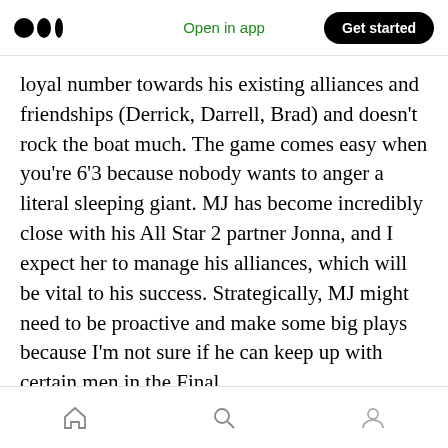Open in app | Get started
loyal number towards his existing alliances and friendships (Derrick, Darrell, Brad) and doesn't rock the boat much. The game comes easy when you're 6'3 because nobody wants to anger a literal sleeping giant. MJ has become incredibly close with his All Star 2 partner Jonna, and I expect her to manage his alliances, which will be vital to his success. Strategically, MJ might need to be proactive and make some big plays because I'm not sure if he can keep up with certain men in the Final.
Mentally, MJ is average to below average in
Home | Search | Profile